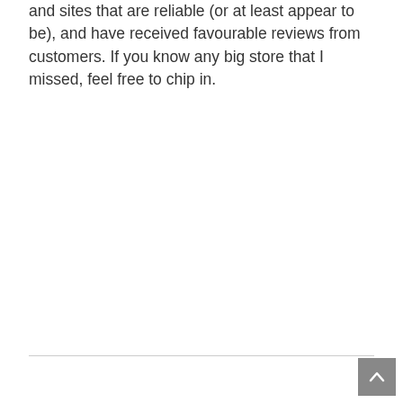and sites that are reliable (or at least appear to be), and have received favourable reviews from customers. If you know any big store that I missed, feel free to chip in.